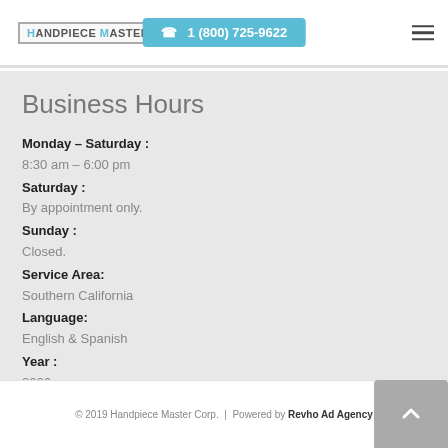Handpiece Master | 1 (800) 725-9622
Business Hours
Monday – Saturday : 8:30 am – 6:00 pm
Saturday : By appointment only.
Sunday : Closed.
Service Area: Southern California
Language: English & Spanish
Year : 2006
© 2019 Handpiece Master Corp. | Powered by Revho Ad Agency